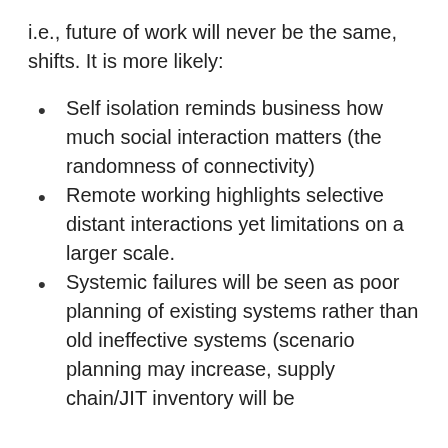i.e., future of work will never be the same, shifts. It is more likely:
Self isolation reminds business how much social interaction matters (the randomness of connectivity)
Remote working highlights selective distant interactions yet limitations on a larger scale.
Systemic failures will be seen as poor planning of existing systems rather than old ineffective systems (scenario planning may increase, supply chain/JIT inventory will be